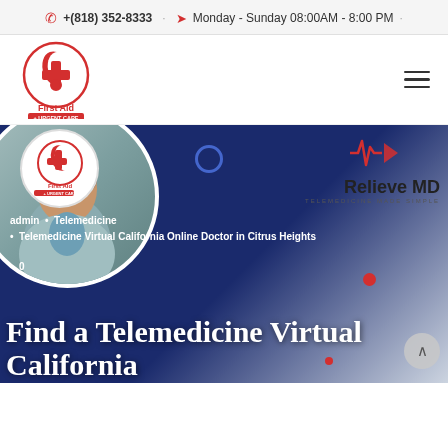+(818) 352-8333  ·  Monday - Sunday 08:00AM - 8:00 PM  ·
[Figure (logo): First Aid Urgent Care logo — red circular logo with cross and leaf motif, text 'First Aid' and '+URGENT CARE' below]
[Figure (logo): Hamburger menu icon (three horizontal lines)]
[Figure (photo): Hero banner image with dark blue background. Left side: circular photo of a man in a blue suit holding a tablet, with First Aid Urgent Care small logo overlaid. Center-top: open circle dot. Right side: EKG/heartbeat icon, Relieve MD logo with tagline 'TELEMEDICINE MADE SIMPLE'. Red dot center-right. Breadcrumb and list items overlaid: 'admin • Telemedicine', bullet 'Telemedicine Virtual California Online Doctor in Citrus Heights', bullet '0'. Large white bold title at bottom: 'Find a Telemedicine Virtual California'. Scroll-up button bottom right.]
Find a Telemedicine Virtual California